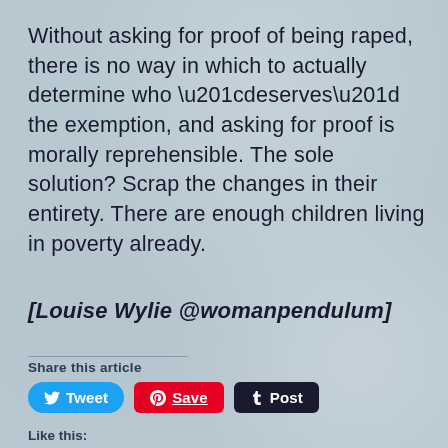Without asking for proof of being raped, there is no way in which to actually determine who “deserves” the exemption, and asking for proof is morally reprehensible. The sole solution? Scrap the changes in their entirety. There are enough children living in poverty already.
[Louise Wylie @womanpendulum]
Share this article
Tweet  Save  Post
Like this: